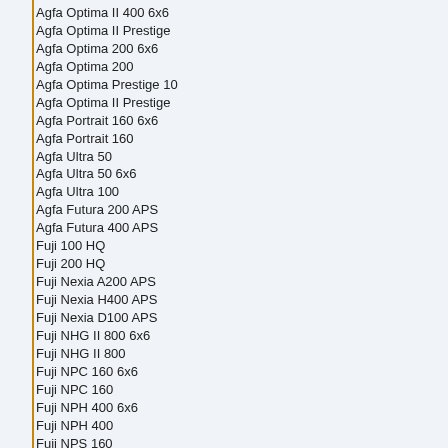Agfa Optima II 400 6x6
Agfa Optima II Prestige
Agfa Optima 200 6x6
Agfa Optima 200
Agfa Optima Prestige 10
Agfa Optima II Prestige
Agfa Portrait 160 6x6
Agfa Portrait 160
Agfa Ultra 50
Agfa Ultra 50 6x6
Agfa Ultra 100
Agfa Futura 200 APS
Agfa Futura 400 APS
Fuji 100 HQ
Fuji 200 HQ
Fuji Nexia A200 APS
Fuji Nexia H400 APS
Fuji Nexia D100 APS
Fuji NHG II 800 6x6
Fuji NHG II 800
Fuji NPC 160 6x6
Fuji NPC 160
Fuji NPH 400 6x6
Fuji NPH 400
Fuji NPS 160
Fuji NPS 160 6x6
Fuji Pro 160S
Fuji Super HG 1600
Fuji Super HQ 100
Fuji Super HQ 200
Fuji Super HG 1600 Ex
Fuji Superia 100